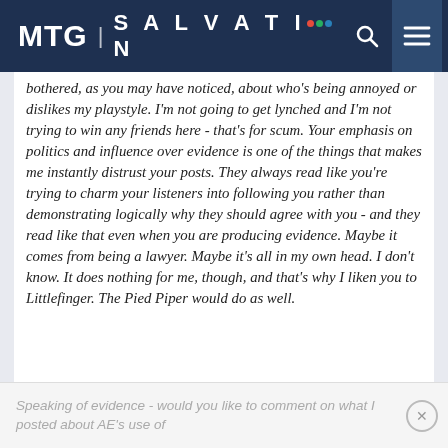MTG SALVATION
bothered, as you may have noticed, about who's being annoyed or dislikes my playstyle. I'm not going to get lynched and I'm not trying to win any friends here - that's for scum. Your emphasis on politics and influence over evidence is one of the things that makes me instantly distrust your posts. They always read like you're trying to charm your listeners into following you rather than demonstrating logically why they should agree with you - and they read like that even when you are producing evidence. Maybe it comes from being a lawyer. Maybe it's all in my own head. I don't know. It does nothing for me, though, and that's why I liken you to Littlefinger. The Pied Piper would do as well.
Speaking of evidence - would you like to comment on what I posted about AE's use of